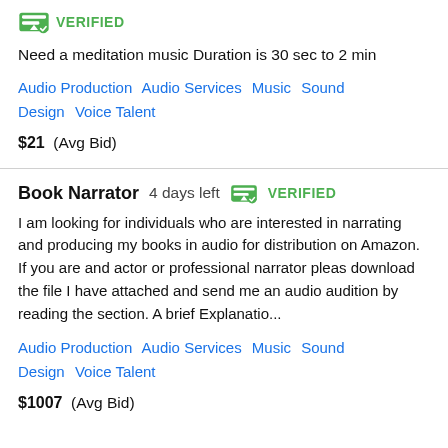[Figure (logo): Green verified badge icon with checkmark]
VERIFIED
Need a meditation music Duration is 30 sec to 2 min
Audio Production   Audio Services   Music   Sound Design   Voice Talent
$21  (Avg Bid)
Book Narrator   4 days left   VERIFIED
I am looking for individuals who are interested in narrating and producing my books in audio for distribution on Amazon. If you are and actor or professional narrator pleas download the file I have attached and send me an audio audition by reading the section. A brief Explanatio...
Audio Production   Audio Services   Music   Sound Design   Voice Talent
$1007  (Avg Bid)